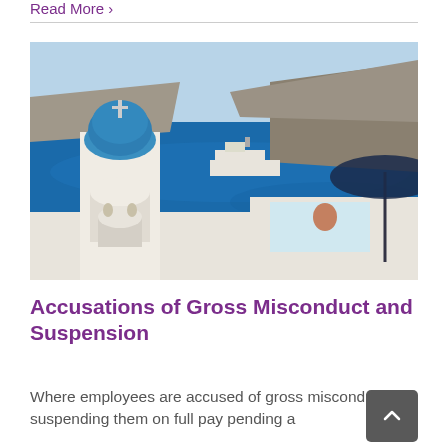Read More ›
[Figure (photo): Aerial view of Santorini, Greece, with a white bell tower with blue dome in the foreground, a cruise ship on the blue sea, rocky caldera in the background, and a person sitting in a rooftop infinity pool with a blue umbrella.]
Accusations of Gross Misconduct and Suspension
Where employees are accused of gross misconduct, suspending them on full pay pending a